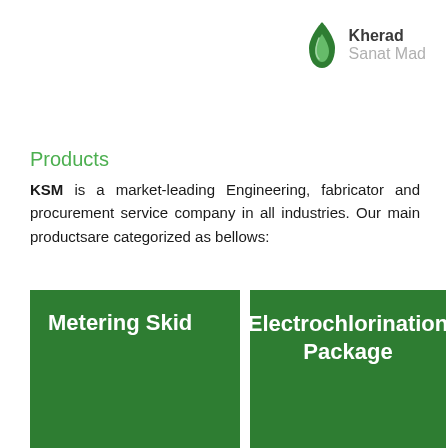[Figure (logo): Kherad Sanat Mad company logo with green flame/droplet icon and company name in two-tone text]
Products
KSM is a market-leading Engineering, fabricator and procurement service company in all industries. Our main productsare categorized as bellows:
[Figure (infographic): Two green product category cards: 'Metering Skid' and 'Electrochlorination Package', with a partial third green card visible at right edge]
Metering Skid
Electrochlorination Package